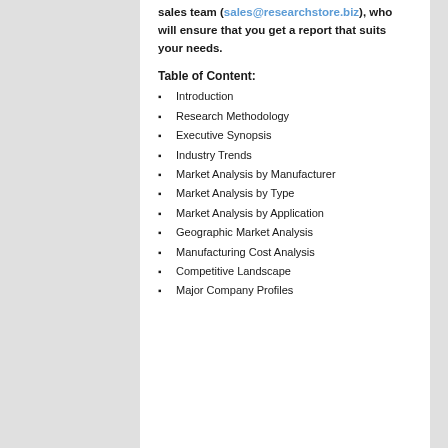sales team (sales@researchstore.biz), who will ensure that you get a report that suits your needs.
Table of Content:
Introduction
Research Methodology
Executive Synopsis
Industry Trends
Market Analysis by Manufacturer
Market Analysis by Type
Market Analysis by Application
Geographic Market Analysis
Manufacturing Cost Analysis
Competitive Landscape
Major Company Profiles